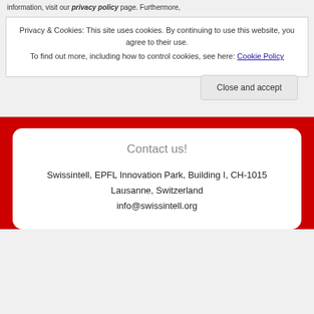information, visit our privacy policy page. Furthermore,
Privacy & Cookies: This site uses cookies. By continuing to use this website, you agree to their use.
To find out more, including how to control cookies, see here: Cookie Policy
Close and accept
Contact us!
Swissintell, EPFL Innovation Park, Building I, CH-1015 Lausanne, Switzerland
info@swissintell.org